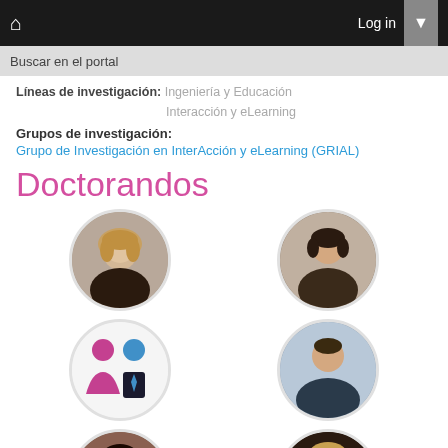Log in
Buscar en el portal
Líneas de investigación: Ingeniería y Educación
Interacción y eLearning
Grupos de investigación:
Grupo de Investigación en InterAcción y eLearning (GRIAL)
Doctorandos
[Figure (photo): Circular profile photo of a young woman with blonde hair, smiling]
[Figure (photo): Circular profile photo of a middle-aged man with short dark hair]
[Figure (illustration): Circular placeholder icon showing silhouettes of a woman (pink) and a man (blue) side by side]
[Figure (photo): Circular profile photo of a man in a suit]
[Figure (photo): Circular profile photo of a young woman with dark hair, smiling]
[Figure (photo): Circular profile photo of a woman with blonde hair]
[Figure (photo): Circular profile photo partially visible at bottom left]
[Figure (photo): Circular profile photo partially visible at bottom right]